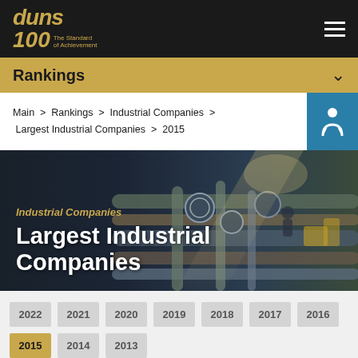duns 100 The Standard of Achievement
Rankings
Main > Rankings > Industrial Companies > Largest Industrial Companies > 2015
[Figure (photo): Industrial facility interior with pipes, machinery, gauges, and a worker in background with bright lights]
Largest Industrial Companies
Industrial Companies
2022
2021
2020
2019
2018
2017
2016
2015
2014
2013